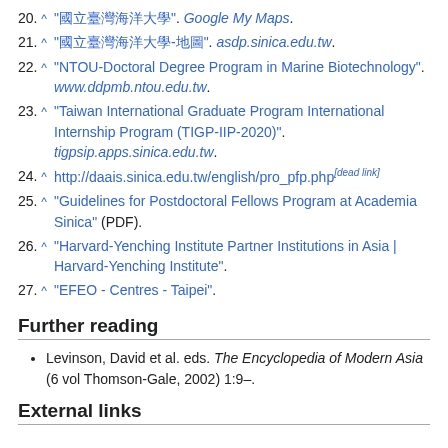20. ^ "國立臺灣海洋大學". Google My Maps.
21. ^ "國立臺灣海洋大學-地圖". asdp.sinica.edu.tw.
22. ^ "NTOU-Doctoral Degree Program in Marine Biotechnology". www.ddpmb.ntou.edu.tw.
23. ^ "Taiwan International Graduate Program International Internship Program (TIGP-IIP-2020)". tigpsip.apps.sinica.edu.tw.
24. ^ http://daais.sinica.edu.tw/english/pro_pfp.php[dead link]
25. ^ "Guidelines for Postdoctoral Fellows Program at Academia Sinica" (PDF).
26. ^ "Harvard-Yenching Institute Partner Institutions in Asia | Harvard-Yenching Institute".
27. ^ "EFEO - Centres - Taipei".
Further reading
Levinson, David et al. eds. The Encyclopedia of Modern Asia (6 vol Thomson-Gale, 2002) 1:9–.
External links